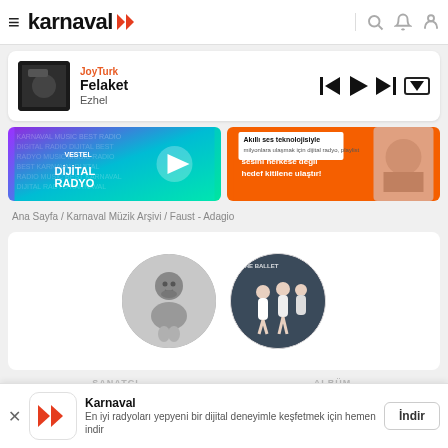karnaval
[Figure (screenshot): Karnaval music player bar showing JoyTurk station, song Felaket by Ezhel, with playback controls]
[Figure (screenshot): Two promotional banners: left banner for Vestel Dijital Radyo, right orange banner with text Akıllı ses teknolojisiyle sesini herkese değil hedef kitilene ulaştır!]
Ana Sayfa / Karnaval Müzik Arşivi / Faust - Adagio
[Figure (photo): Two circular images: left shows a black and white portrait of a man (composer), right shows ballet dancers on an album cover]
Karnaval
En iyi radyoları yepyeni bir dijital deneyimle keşfetmek için hemen indir
İndir